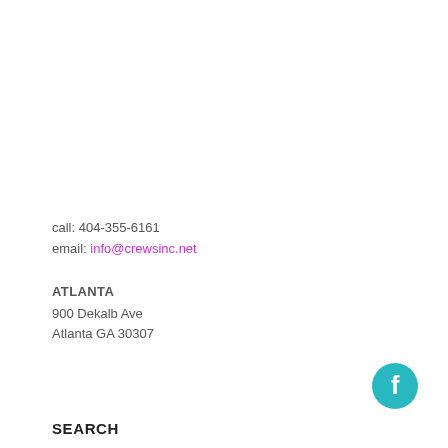call: 404-355-6161
email: info@crewsinc.net
ATLANTA
900 Dekalb Ave
Atlanta GA 30307
[Figure (logo): Teal circular Facebook button with white 'f' icon]
SEARCH